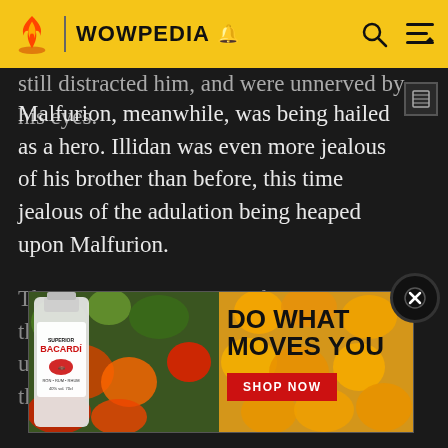WOWPEDIA
still distracted him, and were unnerved by his eyes. Malfurion, meanwhile, was being hailed as a hero. Illidan was even more jealous of his brother than before, this time jealous of the adulation being heaped upon Malfurion.
A party of night elves led by Jarod Shadowsong caught him pouring the vials into a lake. They assumed the worst, and Jarod tried to take Illidan into custody. He told Illidan "If not for your brother, I'd--"
[Figure (screenshot): Bacardi advertisement: DO WHAT MOVES YOU with SHOP NOW button, overlapping article text]
Those w... to his thinking... ungrate... son they di... ir.